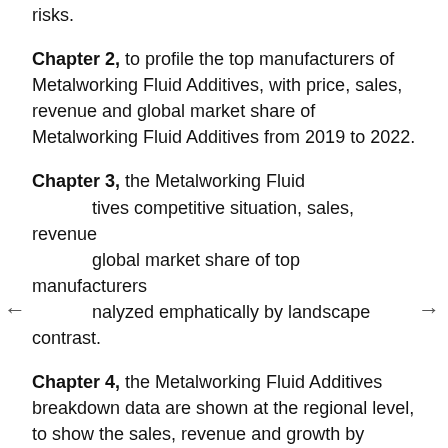risks.
Chapter 2, to profile the top manufacturers of Metalworking Fluid Additives, with price, sales, revenue and global market share of Metalworking Fluid Additives from 2019 to 2022.
Chapter 3, the Metalworking Fluid Additives competitive situation, sales, revenue and global market share of top manufacturers analyzed emphatically by landscape contrast.
Chapter 4, the Metalworking Fluid Additives breakdown data are shown at the regional level, to show the sales, revenue and growth by regions, from 2017 to 2028.
Chapter 5 and 6, to segment the sales by Type and application, with sales market share and growth rate by type, end user, from 2017 to 2028.